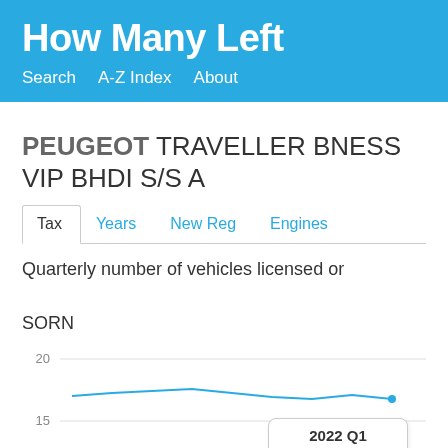How Many Left
Search   A-Z Index   About
PEUGEOT TRAVELLER BNESS VIP BHDI S/S A
Tax   Years   New Reg   Engines
Quarterly number of vehicles licensed or SORN
[Figure (line-chart): Line chart showing quarterly licensed/SORN vehicles. Y-axis shows values 15 and 20 visible. Tooltip shows 2022 Q1, Licensed: 11]